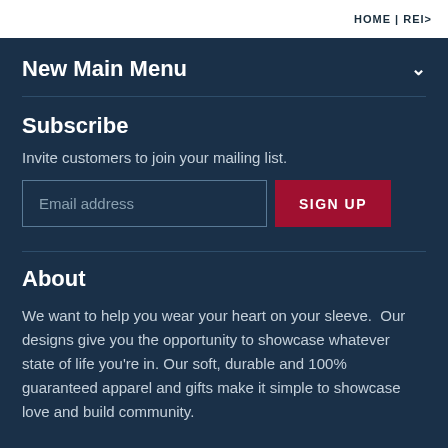HOME | REI>
New Main Menu
Subscribe
Invite customers to join your mailing list.
About
We want to help you wear your heart on your sleeve.  Our designs give you the opportunity to showcase whatever state of life you're in.  Our soft, durable and 100% guaranteed apparel and gifts make it simple to showcase love and build community.